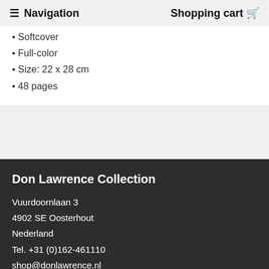Navigation  Shopping cart
Softcover
Full-color
Size: 22 x 28 cm
48 pages
Don Lawrence Collection
Vuurdoornlaan 3
4902 SE Oosterhout
Nederland
Tel. +31 (0)162-461110
shop@donlawrence.nl